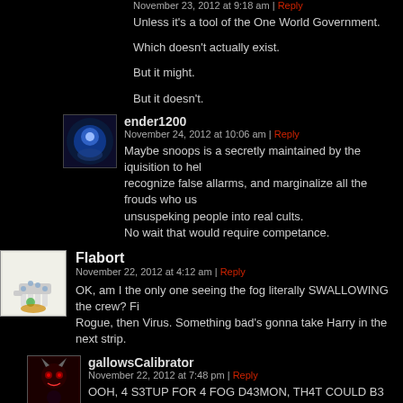November 23, 2012 at 9:18 am | Reply
Unless it's a tool of the One World Government.

Which doesn't actually exist.

But it might.

But it doesn't.
ender1200
November 24, 2012 at 10:06 am | Reply
Maybe snoops is a secretly maintained by the iquisition to help recognize false allarms, and marginalize all the frouds who use unsuspecting people into real cults.
No wait that would require competance.
Flabort
November 22, 2012 at 4:12 am | Reply
OK, am I the only one seeing the fog literally SWALLOWING the crew? First Rogue, then Virus. Something bad's gonna take Harry in the next strip.
gallowsCalibrator
November 22, 2012 at 7:48 pm | Reply
OOH, 4 S3TUP FOR 4 FOG D43MON, TH4T COULD B3 FUN, TH1NK 1T'S MOR3 L1K3LY TOO JUST H1D3 SOM3TH1NG SC4RY.